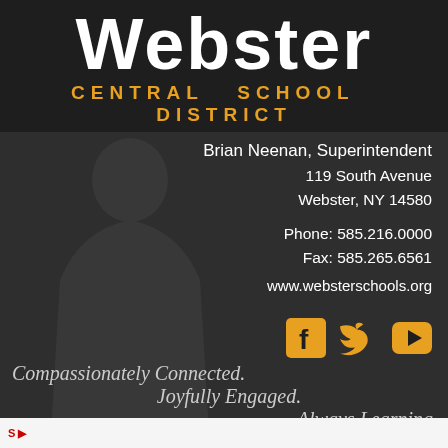Webster CENTRAL SCHOOL DISTRICT
Brian Neenan, Superintendent
119 South Avenue
Webster, NY 14580

Phone: 585.216.0000
Fax: 585.265.6561
www.websterschools.org
[Figure (infographic): Social media icons: Facebook (f), Twitter (bird), YouTube (play button) in orange/gold color]
Compassionately Connected.
Joyfully Engaged.
Always Learning.